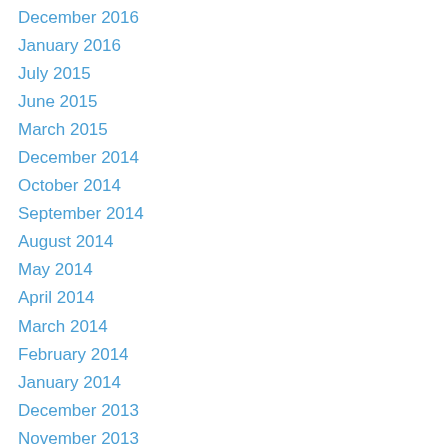December 2016
January 2016
July 2015
June 2015
March 2015
December 2014
October 2014
September 2014
August 2014
May 2014
April 2014
March 2014
February 2014
January 2014
December 2013
November 2013
October 2013
September 2013
August 2013
July 2013